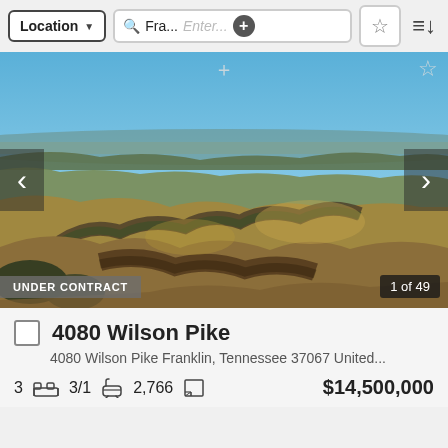Location   Fra...   Enter...   ☆   ≡↓
[Figure (photo): Aerial drone photograph of rolling farmland in Franklin, Tennessee. Brown and green fields with trees, rolling hills, river creek winding through the landscape, blue sky with light haze on the horizon. Navigation arrows on left and right sides. Status badge 'UNDER CONTRACT' in bottom-left and '1 of 49' counter in bottom-right.]
4080 Wilson Pike
4080 Wilson Pike Franklin, Tennessee 37067 United...
3  [bed icon]  3/1  [bath icon]  2,766  [sqft icon]  $14,500,000